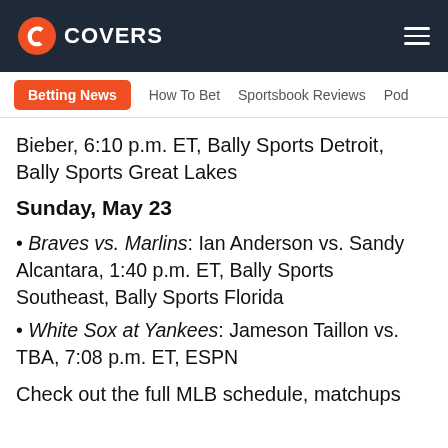COVERS
Betting News   How To Bet   Sportsbook Reviews   Pod
Bieber, 6:10 p.m. ET, Bally Sports Detroit, Bally Sports Great Lakes
Sunday, May 23
Braves vs. Marlins: Ian Anderson vs. Sandy Alcantara, 1:40 p.m. ET, Bally Sports Southeast, Bally Sports Florida
White Sox at Yankees: Jameson Taillon vs. TBA, 7:08 p.m. ET, ESPN
Check out the full MLB schedule, matchups